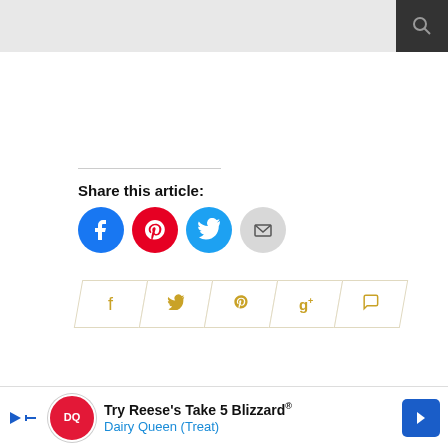Search
Share this article:
[Figure (infographic): Social share buttons: Facebook (blue circle), Pinterest (red circle), Twitter (cyan circle), Email (gray circle)]
[Figure (infographic): Social share bar icons: Facebook, Twitter, Pinterest, Google+, Comment — styled as parallelogram buttons with gold icons]
[Figure (infographic): Advertisement: Try Reese's Take 5 Blizzard - Dairy Queen (Treat)]